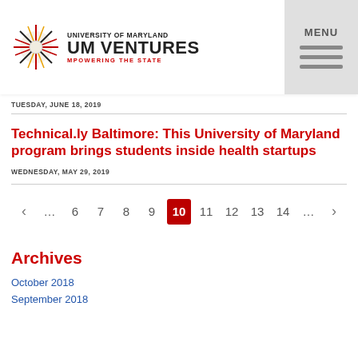UNIVERSITY OF MARYLAND UM VENTURES MPOWERING THE STATE
TUESDAY, JUNE 18, 2019
Technical.ly Baltimore: This University of Maryland program brings students inside health startups
WEDNESDAY, MAY 29, 2019
‹ … 6 7 8 9 10 11 12 13 14 … ›
Archives
October 2018
September 2018